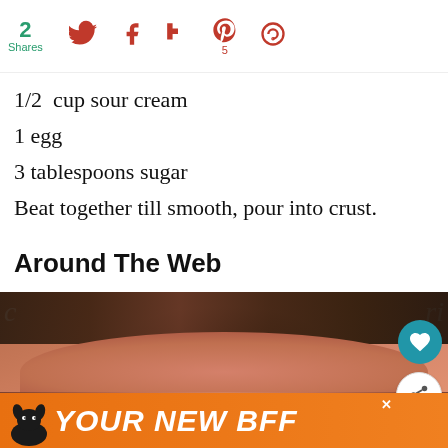2 Shares | social share icons: Twitter, Facebook, Flipboard, Pinterest (5), circle
1/2  cup sour cream
1 egg
3 tablespoons sugar
Beat together till smooth, pour into crust.
Around The Web
[Figure (photo): Close-up photo of a man's face (heavily cropped, showing forehead, eyes, and nose), with partial text visible in background]
YOUR NEW BFF